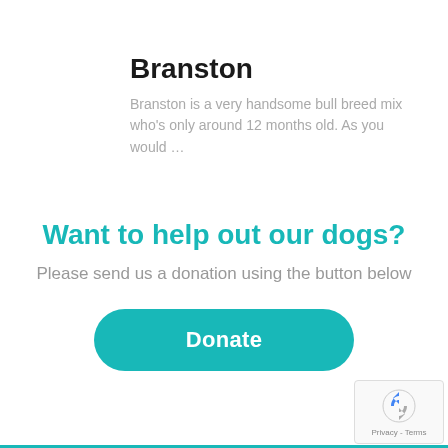Branston
Branston is a very handsome bull breed mix who's only around 12 months old. As you would ...
Want to help out our dogs?
Please send us a donation using the button below
[Figure (other): Teal rounded rectangle button labeled 'Donate']
[Figure (other): reCAPTCHA widget showing icon and Privacy - Terms text]